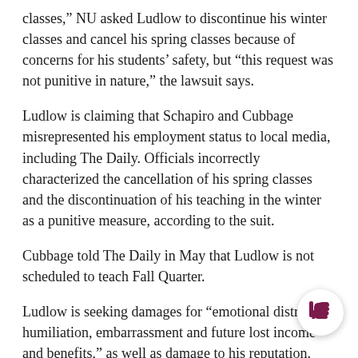classes,” NU asked Ludlow to discontinue his winter classes and cancel his spring classes because of concerns for his students’ safety, but “this request was not punitive in nature,” the lawsuit says.
Ludlow is claiming that Schapiro and Cubbage misrepresented his employment status to local media, including The Daily. Officials incorrectly characterized the cancellation of his spring classes and the discontinuation of his teaching in the winter as a punitive measure, according to the suit.
Cubbage told The Daily in May that Ludlow is not scheduled to teach Fall Quarter.
Ludlow is seeking damages for “emotional distress, humiliation, embarrassment and future lost income and benefits,” as well as damage to his reputation.
Cubbage declined to comment on behalf of the University